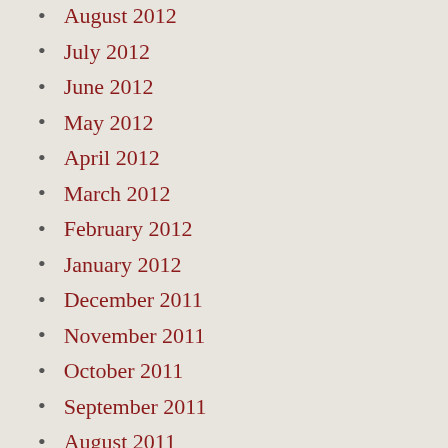August 2012
July 2012
June 2012
May 2012
April 2012
March 2012
February 2012
January 2012
December 2011
November 2011
October 2011
September 2011
August 2011
July 2011
June 2011
May 2011
December 2010